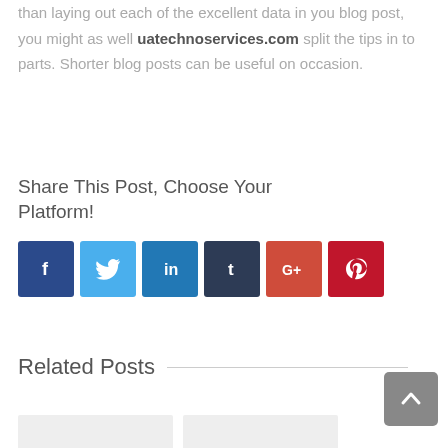than laying out each of the excellent data in you blog post, you might as well uatechnoservices.com split the tips in to parts. Shorter blog posts can be useful on occasion.
Share This Post, Choose Your Platform!
[Figure (infographic): Social media sharing icons: Facebook (dark blue), Twitter (light blue), LinkedIn (blue), Tumblr (dark navy), Google+ (red-orange), Pinterest (dark red)]
Related Posts
[Figure (other): Two placeholder card thumbnails at the bottom]